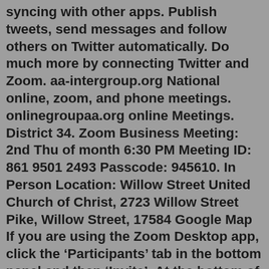syncing with other apps. Publish tweets, send messages and follow others on Twitter automatically. Do much more by connecting Twitter and Zoom. aa-intergroup.org National online, zoom, and phone meetings. onlinegroupaa.org online Meetings. District 34. Zoom Business Meeting: 2nd Thu of month 6:30 PM Meeting ID: 861 9501 2493 Passcode: 945610. In Person Location: Willow Street United Church of Christ, 2723 Willow Street Pike, Willow Street, 17584 Google Map If you are using the Zoom Desktop app, click the ‘Participants’ tab in the bottom panel and then ‘Invite’. At the bottom of the popup window you will have two options; Copy Invite Link, and Copy Invitation. If you only want to generate the meeting link, click ‘Copy Invite Link’. You can now paste this link that is copied to your ... Before joining a Zoom meeting on a computer or mobile device, you can download Zoom from the Download Center. Otherwise, you will be prompted to download and install Zoom when you click a join link. You can also join at a meeting to familiarize yourself with joining...